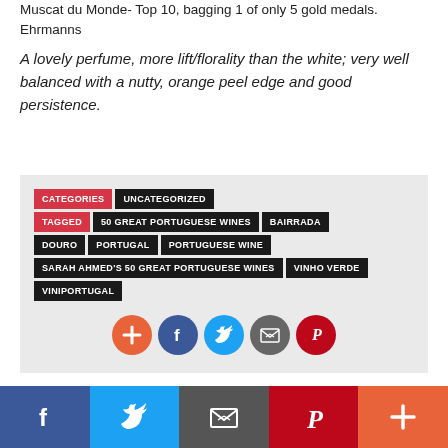Muscat du Monde- Top 10, bagging 1 of only 5 gold medals.  Ehrmanns
A lovely perfume, more lift/florality than the white; very well balanced with a nutty, orange peel edge and good persistence.
CATEGORIES | UNCATEGORIZED | TAGGED | 50 GREAT PORTUGUESE WINES | BAIRRADA | DOURO | PORTUGAL | PORTUGUESE WINE | SARAH AHMED'S 50 GREAT PORTUGUESE WINES | VINHO VERDE | VINIPORTUGAL
[Figure (infographic): Social sharing icons: plus (orange), facebook (blue), twitter (light blue), email (grey), pinterest (red)]
[Figure (infographic): Bottom social share bar with facebook, twitter, email, pinterest, and plus buttons]